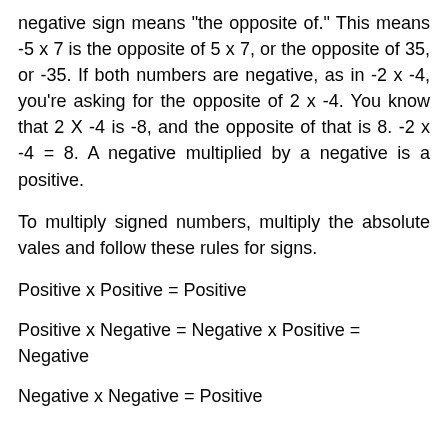negative sign means "the opposite of." This means -5 x 7 is the opposite of 5 x 7, or the opposite of 35, or -35. If both numbers are negative, as in -2 x -4, you're asking for the opposite of 2 x -4. You know that 2 X -4 is -8, and the opposite of that is 8. -2 x -4 = 8. A negative multiplied by a negative is a positive.
To multiply signed numbers, multiply the absolute vales and follow these rules for signs.
Positive x Positive = Positive
Positive x Negative = Negative x Positive = Negative
Negative x Negative = Positive